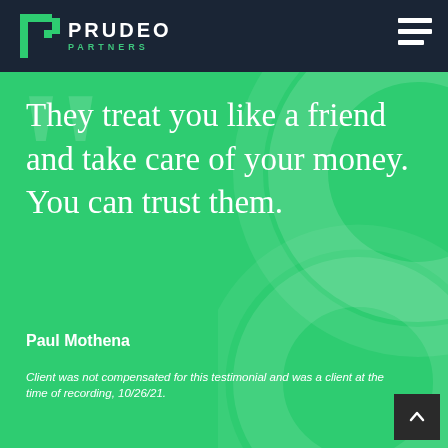PRUDEO PARTNERS
They treat you like a friend and take care of your money. You can trust them.
Paul Mothena
Client was not compensated for this testimonial and was a client at the time of recording, 10/26/21.